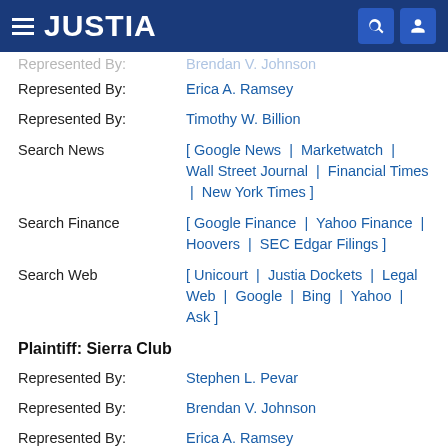JUSTIA
Represented By: Brendan V. Johnson (partial, cut off)
Represented By: Erica A. Ramsey
Represented By: Timothy W. Billion
Search News: [ Google News | Marketwatch | Wall Street Journal | Financial Times | New York Times ]
Search Finance: [ Google Finance | Yahoo Finance | Hoovers | SEC Edgar Filings ]
Search Web: [ Unicourt | Justia Dockets | Legal Web | Google | Bing | Yahoo | Ask ]
Plaintiff: Sierra Club
Represented By: Stephen L. Pevar
Represented By: Brendan V. Johnson
Represented By: Erica A. Ramsey